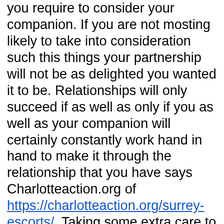you require to consider your companion. If you are not mosting likely to take into consideration such this things your partnership will not be as delighted you wanted it to be. Relationships will only succeed if as well as only if you as well as your companion will certainly constantly work hand in hand to make it through the relationship that you have says Charlotteaction.org of https://charlotteaction.org/surrey-escorts/. Taking some extra care to your partnership will make all points alright even if you think things are hard to continue. A much better understanding and also open interaction are very needed to make it function. Nonetheless, particular points can not be prevented similar to dispute. This is so common to pairs. The distinctions in between both males and female will certainly come at a time to clash, and this is typical. However if this will certainly involve occur to make it sure that if one is hot-headed see to it that the other one will certainly select to be tranquil. Problems like this could not be settle if you 2 in the partnership will certainly have the exact same kind of strength when it concerns your anger.